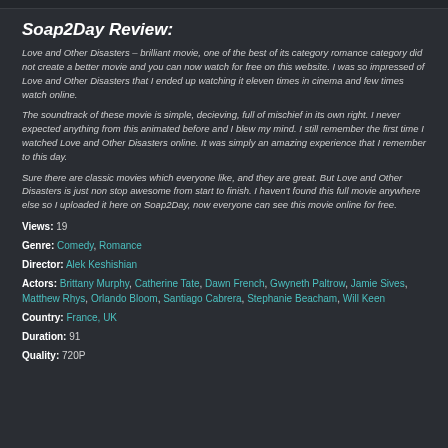Soap2Day Review:
Love and Other Disasters – brilliant movie, one of the best of its category romance category did not create a better movie and you can now watch for free on this website. I was so impressed of Love and Other Disasters that I ended up watching it eleven times in cinema and few times watch online.
The soundtrack of these movie is simple, decieving, full of mischief in its own right. I never expected anything from this animated before and I blew my mind. I still remember the first time I watched Love and Other Disasters online. It was simply an amazing experience that I remember to this day.
Sure there are classic movies which everyone like, and they are great. But Love and Other Disasters is just non stop awesome from start to finish. I haven't found this full movie anywhere else so I uploaded it here on Soap2Day, now everyone can see this movie online for free.
Views: 19
Genre: Comedy, Romance
Director: Alek Keshishian
Actors: Brittany Murphy, Catherine Tate, Dawn French, Gwyneth Paltrow, Jamie Sives, Matthew Rhys, Orlando Bloom, Santiago Cabrera, Stephanie Beacham, Will Keen
Country: France, UK
Duration: 91
Quality: 720P